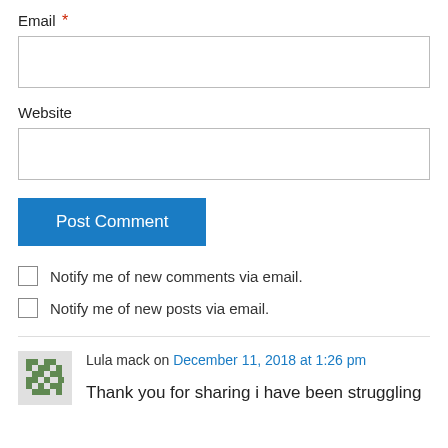Email *
[Figure (screenshot): Empty email input text field]
Website
[Figure (screenshot): Empty website input text field]
[Figure (screenshot): Post Comment button (blue)]
Notify me of new comments via email.
Notify me of new posts via email.
Lula mack on December 11, 2018 at 1:26 pm
Thank you for sharing i have been struggling